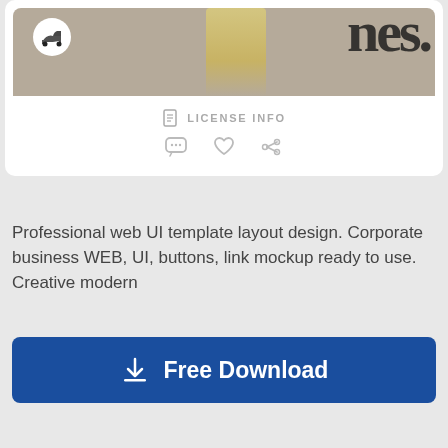[Figure (screenshot): Screenshot of a web UI template preview card showing a fashion/lifestyle image with a heel shoe icon and large stylized text, along with LICENSE INFO text and interaction icons (comment, like, share)]
Professional web UI template layout design. Corporate business WEB, UI, buttons, link mockup ready to use. Creative modern
Free Download